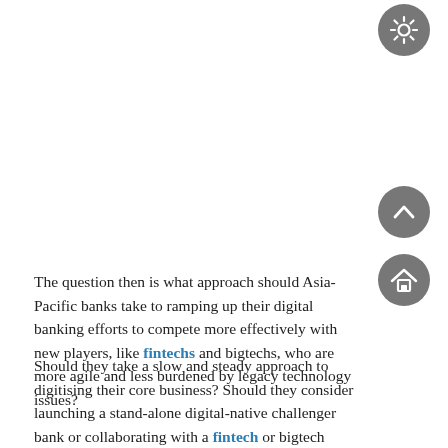[Figure (other): Navigation circle button at top right (gear/settings icon), dark grey]
[Figure (other): Navigation circle button in middle right (up chevron icon), dark grey]
[Figure (other): Navigation circle button (home icon), dark grey]
The question then is what approach should Asia-Pacific banks take to ramping up their digital banking efforts to compete more effectively with new players, like fintechs and bigtechs, who are more agile and less burdened by legacy technology issues?
Should they take a slow and steady approach to digitising their core business? Should they consider launching a stand-alone digital-native challenger bank or collaborating with a fintech or bigtech partner?